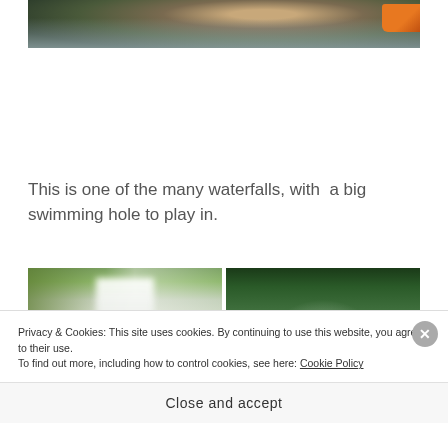[Figure (photo): Partial cropped view of a waterfall or rocky water scene with orange element visible at top right]
This is one of the many waterfalls, with  a big swimming hole to play in.
[Figure (photo): Two waterfall photos side by side: left shows a waterfall with mossy green rocks and white rushing water; right shows an aerial/distant view of a waterfall surrounded by dense green jungle foliage]
Privacy & Cookies: This site uses cookies. By continuing to use this website, you agree to their use.
To find out more, including how to control cookies, see here: Cookie Policy
Close and accept